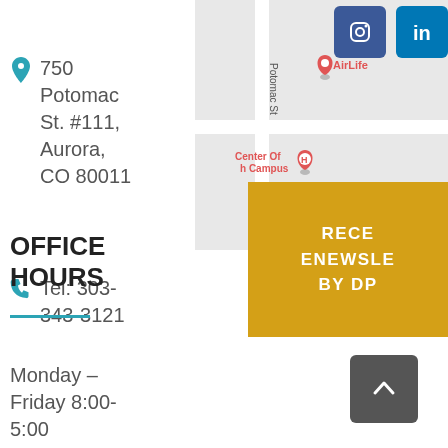750 Potomac St. #111, Aurora, CO 80011
[Figure (map): Google map showing AirLife location and Center Of h Campus marker near Potomac St, Aurora CO]
[Figure (other): Instagram and LinkedIn social media icon buttons]
RECE ENEWSLE BY DP (newsletter signup button)
Tel: 303-343-3121
OFFICE HOURS
Monday – Friday 8:00- 5:00